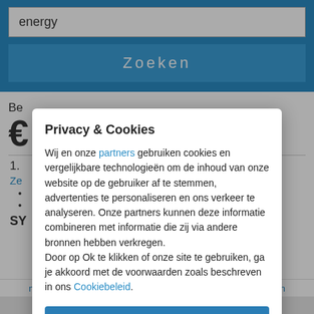energy
Zoeken
Be
€
1.
Ze
•
•
SY
muscularity  vigor  vigour  vim
Privacy & Cookies
Wij en onze partners gebruiken cookies en vergelijkbare technologieën om de inhoud van onze website op de gebruiker af te stemmen, advertenties te personaliseren en ons verkeer te analyseren. Onze partners kunnen deze informatie combineren met informatie die zij via andere bronnen hebben verkregen.
Door op Ok te klikken of onze site te gebruiken, ga je akkoord met de voorwaarden zoals beschreven in ons Cookiebeleid.
Ok!